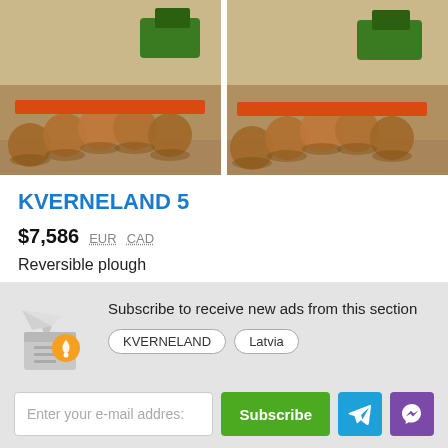[Figure (photo): Two photos of a Kverneland 5 reversible plough with multiple disc blades, on a sandy/gravel surface, with green tractors visible in the background.]
KVERNELAND 5
$7,586  EUR  CAD
Reversible plough
Latvia, Cēsis, Cēsu nov.
Subscribe to receive new ads from this section
KVERNELAND  Latvia
Enter your e-mail address
Subscribe